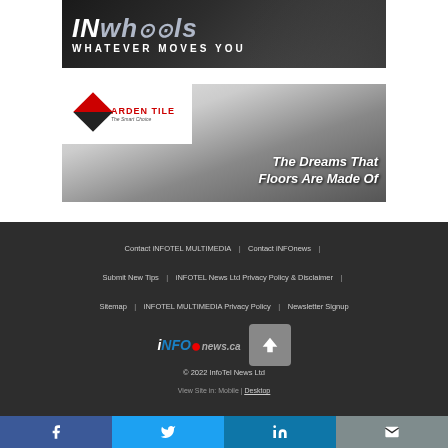[Figure (photo): IN Wheels advertisement banner with dark background showing car interior and text 'IN wheels WHATEVER MOVES YOU']
[Figure (photo): Arden Tile advertisement with logo and text 'The Dreams That Floors Are Made Of' over flooring image]
Contact iNFOTEL MULTIMEDIA | Contact iNFOnews | Submit New Tips | iNFOTEL News Ltd Privacy Policy & Disclaimer | Sitemap | iNFOTEL MULTIMEDIA Privacy Policy | Newsletter Signup
© 2022 InfoTel News Ltd
View Site in: Mobile | Desktop